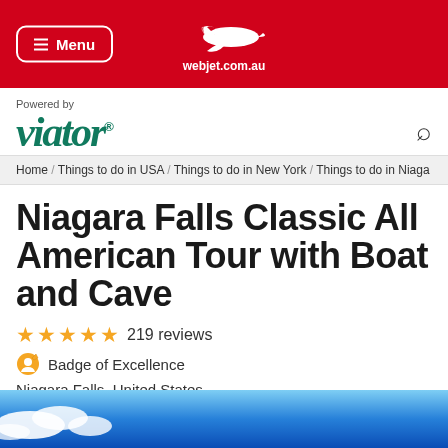[Figure (screenshot): Webjet website header with red background, hamburger menu button on left, airplane logo and webjet.com.au text in center]
[Figure (logo): Viator logo in dark teal italic serif font with 'Powered by' above and magnifying glass search icon on right]
Home / Things to do in USA / Things to do in New York / Things to do in Niaga
Niagara Falls Classic All American Tour with Boat and Cave
219 reviews
Badge of Excellence
Niagara Falls, United States
[Figure (photo): Blue sky with white clouds, bottom strip of image]